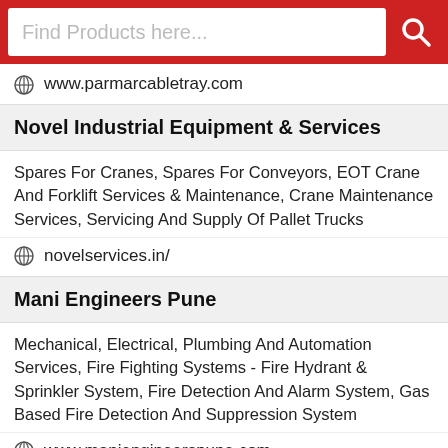Find Products here...
www.parmarcabletray.com
Novel Industrial Equipment & Services
Spares For Cranes, Spares For Conveyors, EOT Crane And Forklift Services & Maintenance, Crane Maintenance Services, Servicing And Supply Of Pallet Trucks
novelservices.in/
Mani Engineers Pune
Mechanical, Electrical, Plumbing And Automation Services, Fire Fighting Systems - Fire Hydrant & Sprinkler System, Fire Detection And Alarm System, Gas Based Fire Detection And Suppression System
www.maniengineerspune.com
Mastpro Consulting Engineers Pvt.Ltd.